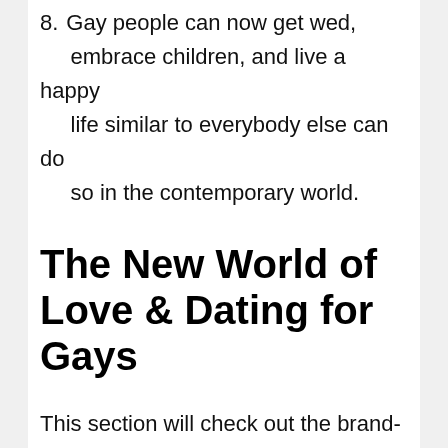8. Gay people can now get wed, embrace children, and live a happy life similar to everybody else can do so in the contemporary world.
The New World of Love & Dating for Gays
This section will check out the brand-new world of love and dating for gays. We will go over how the web has helped them discover a partner online totally free and